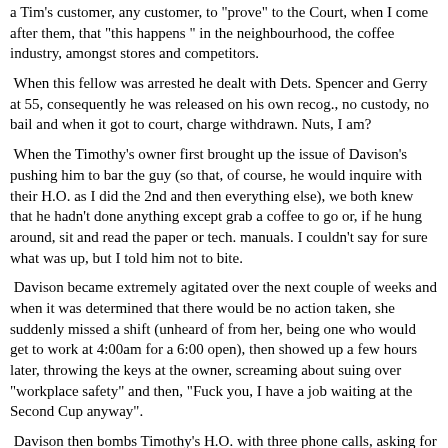a Tim's customer, any customer, to "prove" to the Court, when I come after them, that "this happens " in the neighbourhood, the coffee industry, amongst stores and competitors.
When this fellow was arrested he dealt with Dets. Spencer and Gerry at 55, consequently he was released on his own recog., no custody, no bail and when it got to court, charge withdrawn. Nuts, I am?
When the Timothy's owner first brought up the issue of Davison's pushing him to bar the guy (so that, of course, he would inquire with their H.O. as I did the 2nd and then everything else), we both knew that he hadn't done anything except grab a coffee to go or, if he hung around, sit and read the paper or tech. manuals. I couldn't say for sure what was up, but I told him not to bite.
Davison became extremely agitated over the next couple of weeks and when it was determined that there would be no action taken, she suddenly missed a shift (unheard of from her, being one who would get to work at 4:00am for a 6:00 open), then showed up a few hours later, throwing the keys at the owner, screaming about suing over "workplace safety" and then, "Fuck you, I have a job waiting at the Second Cup anyway".
Davison then bombs Timothy's H.O. with three phone calls, asking for the highest execs by name (this, from someone who had to struggle to make change), yelling the same threats and conclusion (the job at 2nd). She is then seen hanging on the 2nd